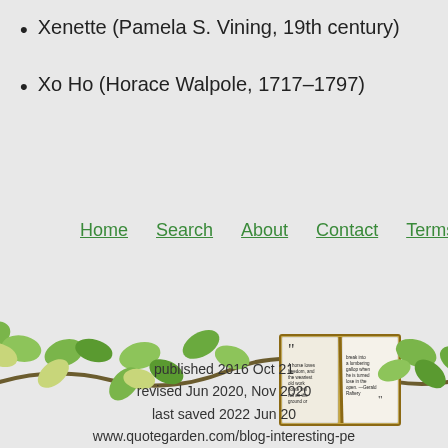Xenette (Pamela S. Vining, 19th century)
Xo Ho (Horace Walpole, 1717–1797)
Home  Search  About  Contact  Terms
[Figure (illustration): Decorative illustration of ivy vines with a central open book bearing a quote about a horse loving freedom, attributed to Gerald Raftery]
published 2016 Oct 21
revised Jun 2020, Nov 2020
last saved 2022 Jun 20
www.quotegarden.com/blog-interesting-pe